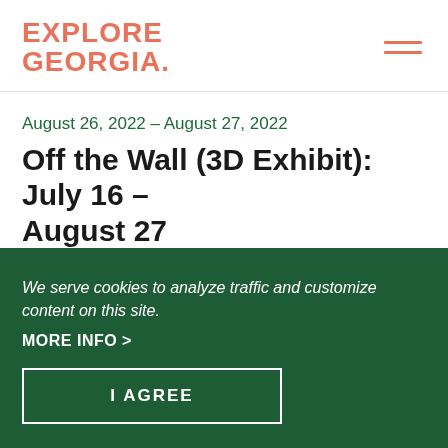EXPLORE GEORGIA
August 26, 2022 – August 27, 2022
Off the Wall (3D Exhibit): July 16 – August 27
Blue Ridge Mountains Art Center
VIEW ALL DATES >
Blue Ridge
We serve cookies to analyze traffic and customize content on this site.
MORE INFO >
I AGREE